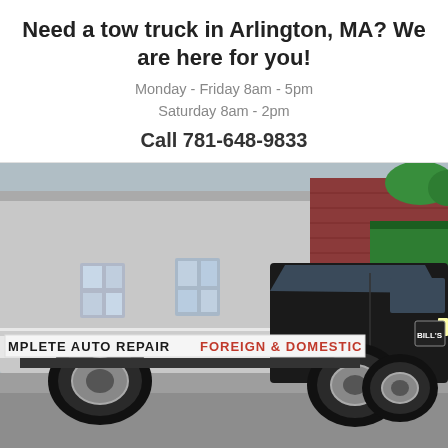Need a tow truck in Arlington, MA? We are here for you!
Monday - Friday 8am - 5pm
Saturday 8am - 2pm
Call 781-648-9833
[Figure (photo): A black flatbed tow truck with text 'MPLETE AUTO REPAIR FOREIGN & DOMESTIC' on the side, parked in front of a residential building with light gray vinyl siding and a red brick building in the background.]